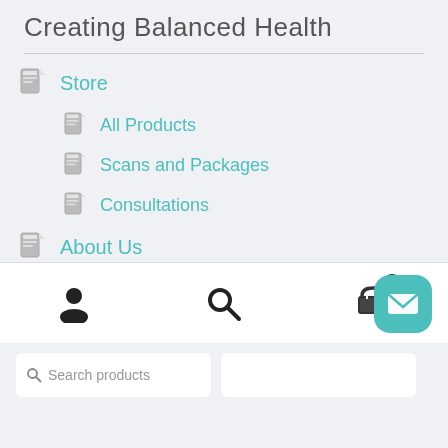Creating Balanced Health
Store
All Products
Scans and Packages
Consultations
About Us
Blog
FAQ
[Figure (screenshot): Bottom navigation bar with person/account icon, search icon, and shopping cart icon with badge showing 0]
[Figure (screenshot): Teal mail/envelope button in bottom right corner]
[Figure (screenshot): Search products input bar at bottom of page]